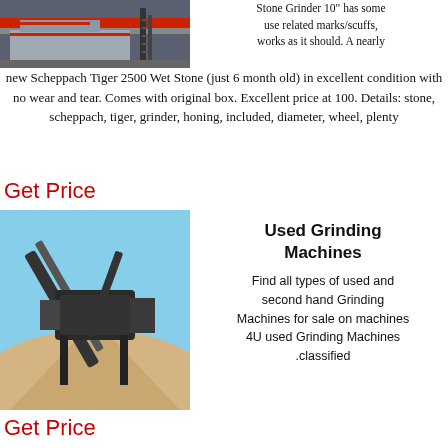[Figure (photo): Photo of an industrial stone grinder machine on a truck/trailer, partially cropped at top]
Stone Grinder 10" has some use related marks/scuffs, works as it should. A nearly new Scheppach Tiger 2500 Wet Stone (just 6 month old) in excellent condition with no wear and tear. Comes with original box. Excellent price at 100. Details: stone, scheppach, tiger, grinder, honing, included, diameter, wheel, plenty
Get Price
[Figure (photo): Photo of a large industrial crushing/grinding machine at a quarry site with a large pile of sandy material]
Used Grinding Machines
Find all types of used and second hand Grinding Machines for sale on machines 4U used Grinding Machines .classified
Get Price